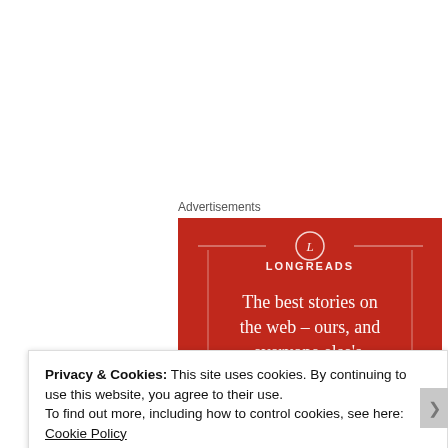Advertisements
[Figure (illustration): Longreads advertisement banner with red background. Shows the Longreads logo (circle with L) and text: 'The best stories on the web – ours, and everyone else's.']
The chess match between Bennett and Haase will be interesting to watch.
Privacy & Cookies: This site uses cookies. By continuing to use this website, you agree to their use.
To find out more, including how to control cookies, see here: Cookie Policy
Close and accept